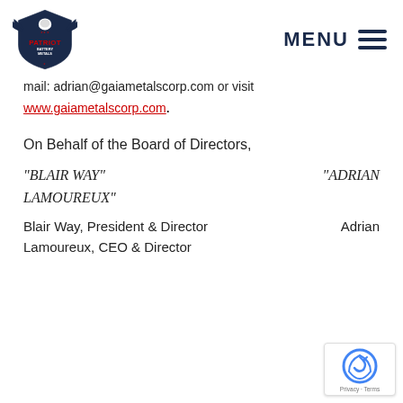Patriot Battery Metals logo | MENU
mail: adrian@gaiametalscorp.com or visit
www.gaiametalscorp.com.
On Behalf of the Board of Directors,
"BLAIR WAY"                          "ADRIAN LAMOUREUX"
Blair Way, President & Director          Adrian Lamoureux, CEO & Director